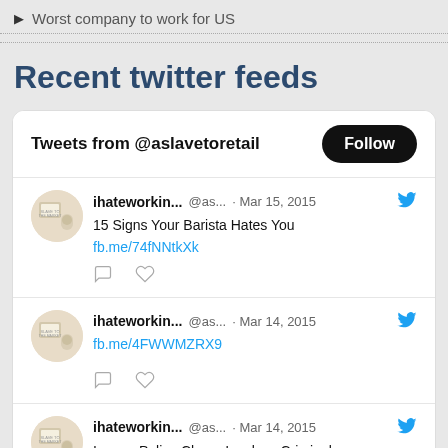▶ Worst company to work for US
Recent twitter feeds
[Figure (screenshot): Twitter widget showing tweets from @aslavetoretail with a Follow button and three tweet items. Tweet 1: ihateworkin... @as... · Mar 15, 2015 - '15 Signs Your Barista Hates You' with link fb.me/74fNNtkXk. Tweet 2: ihateworkin... @as... · Mar 14, 2015 - link fb.me/4FWWMZRX9. Tweet 3: ihateworkin... @as... · Mar 14, 2015 - 'Insane Police Chase Involves Criminal' (truncated).]